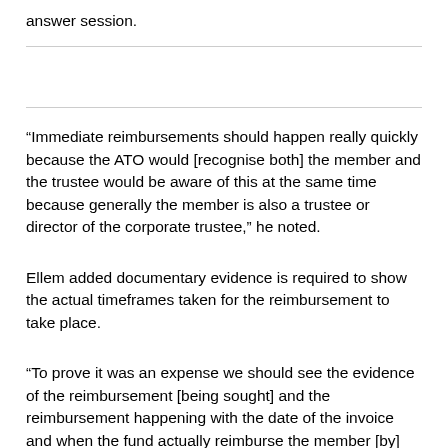answer session.
“Immediate reimbursements should happen really quickly because the ATO would [recognise both] the member and the trustee would be aware of this at the same time because generally the member is also a trustee or director of the corporate trustee,” he noted.
Ellem added documentary evidence is required to show the actual timeframes taken for the reimbursement to take place.
“To prove it was an expense we should see the evidence of the reimbursement [being sought] and the reimbursement happening with the date of the invoice and when the fund actually reimburse the member [by]